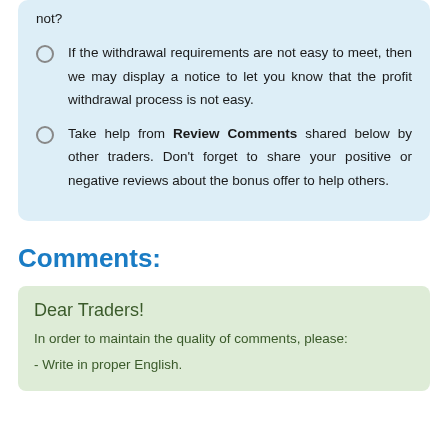If the withdrawal requirements are not easy to meet, then we may display a notice to let you know that the profit withdrawal process is not easy.
Take help from Review Comments shared below by other traders. Don't forget to share your positive or negative reviews about the bonus offer to help others.
Comments:
Dear Traders!
In order to maintain the quality of comments, please:
- Write in proper English.